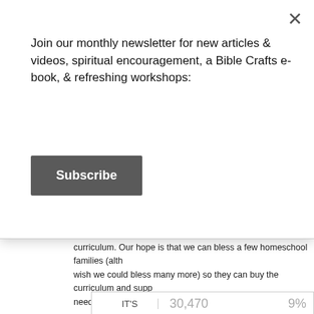Join our monthly newsletter for new articles & videos, spiritual encouragement, a Bible Crafts e-book, & refreshing workshops:
Subscribe
curriculum. Our hope is that we can bless a few homeschool families (although we wish we could bless many more) so they can buy the curriculum and supplies they need for their school year.
To enter for your chance to win, simply use the Rafflecopter form below. Now I know this is quite a few entries, but each of these bloggers has generously chipped in their own money to make this giveaway possible, so I hope you will take the time to do all of the entries. And hey, the more entries you do, the better your odds are of winning!
Giveaway ends July 22, 2022 at 11:59pm ET. Must be at least 18 years of age and be a resident of U.S. or Canada to enter. Selected winners will have 48 hours to respond to email notification to claim their prizes or another winner will be drawn. By entering this giveaway, you agree to be added to the email lists of the participating bloggers (see the Terms & Conditions on the Rafflecopter form for the complete list).
IT'S